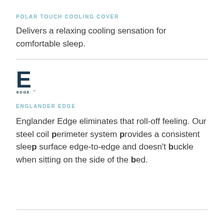POLAR TOUCH COOLING COVER
Delivers a relaxing cooling sensation for comfortable sleep.
[Figure (logo): Englander Edge logo: large bold 'E' with 'EDGE' text below it in dark navy]
ENGLANDER EDGE
Englander Edge eliminates that roll-off feeling. Our steel coil perimeter system provides a consistent sleep surface edge-to-edge and doesn't buckle when sitting on the side of the bed.